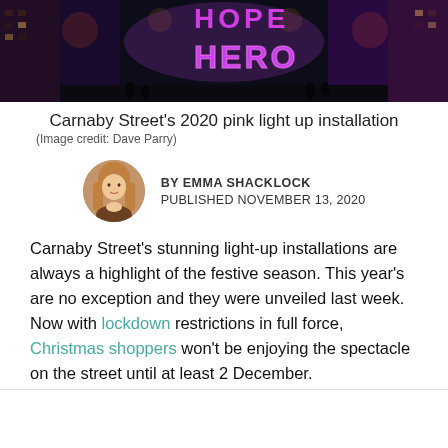[Figure (photo): Nighttime photo of Carnaby Street with neon lights spelling HOPE HERO in pink/purple against a dark sky with street lights and buildings on either side.]
Carnaby Street's 2020 pink light up installation
(Image credit: Dave Parry)
BY EMMA SHACKLOCK
PUBLISHED NOVEMBER 13, 2020
Carnaby Street's stunning light-up installations are always a highlight of the festive season. This year's are no exception and they were unveiled last week. Now with lockdown restrictions in full force, Christmas shoppers won't be enjoying the spectacle on the street until at least 2 December.